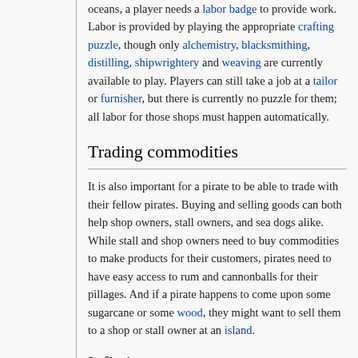oceans, a player needs a labor badge to provide work. Labor is provided by playing the appropriate crafting puzzle, though only alchemistry, blacksmithing, distilling, shipwrightery and weaving are currently available to play. Players can still take a job at a tailor or furnisher, but there is currently no puzzle for them; all labor for those shops must happen automatically.
Trading commodities
It is also important for a pirate to be able to trade with their fellow pirates. Buying and selling goods can both help shop owners, stall owners, and sea dogs alike. While stall and shop owners need to buy commodities to make products for their customers, pirates need to have easy access to rum and cannonballs for their pillages. And if a pirate happens to come upon some sugarcane or some wood, they might want to sell them to a shop or stall owner at an island.
Inflation